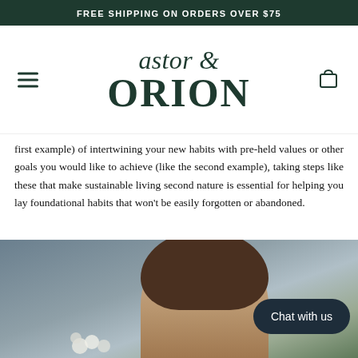FREE SHIPPING ON ORDERS OVER $75
[Figure (logo): Astor & Orion brand logo in dark green serif font]
first example) of intertwining your new habits with pre-held values or other goals you would like to achieve (like the second example), taking steps like these that make sustainable living second nature is essential for helping you lay foundational habits that won't be easily forgotten or abandoned.
[Figure (photo): A woman with brown hair photographed against a grey-blue background with white flowers, with a dark 'Chat with us' bubble overlay in the bottom right corner.]